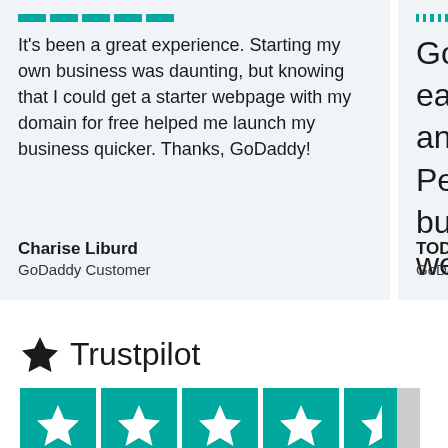It's been a great experience. Starting my own business was daunting, but knowing that I could get a starter webpage with my domain for free helped me launch my business quicker. Thanks, GoDaddy!
Charise Liburd
GoDaddy Customer
GoD... easy... and... Perf... busi... web...
TODD
GoDad...
[Figure (logo): Trustpilot logo with black star and text 'Trustpilot']
[Figure (infographic): Five Trustpilot rating stars: four full teal stars and one half-filled star]
4.7 out of 5 based on 49156 reviews